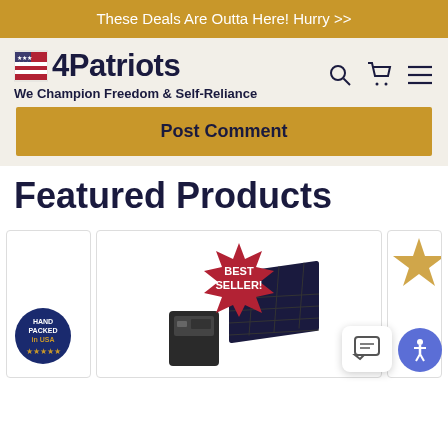These Deals Are Outta Here! Hurry >>
[Figure (logo): 4Patriots logo with American flag icon and tagline 'We Champion Freedom & Self-Reliance']
Post Comment
Featured Products
[Figure (photo): Product cards showing best seller solar power station with 'BEST SELLER!' badge and 'HAND PACKED in USA' badge, plus partial product images on left and right edges]